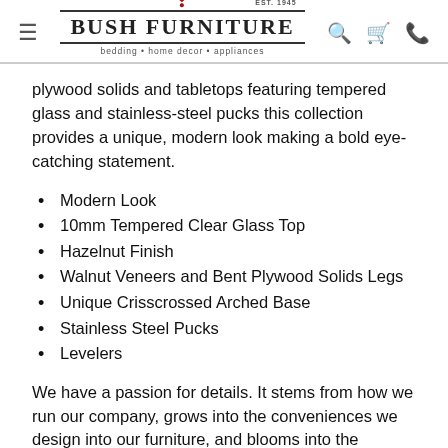Bush Furniture — bedding • home decor • appliances
plywood solids and tabletops featuring tempered glass and stainless-steel pucks this collection provides a unique, modern look making a bold eye-catching statement.
Modern Look
10mm Tempered Clear Glass Top
Hazelnut Finish
Walnut Veneers and Bent Plywood Solids Legs
Unique Crisscrossed Arched Base
Stainless Steel Pucks
Levelers
We have a passion for details. It stems from how we run our company, grows into the conveniences we design into our furniture, and blooms into the relationships we build